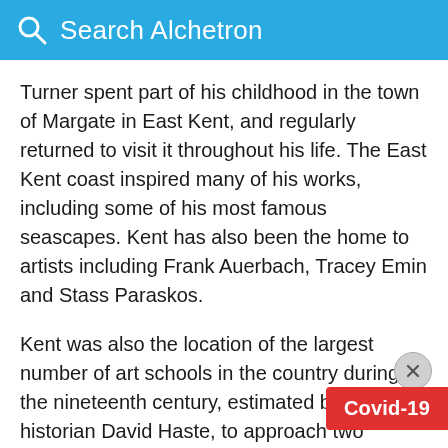Search Alchetron
Turner spent part of his childhood in the town of Margate in East Kent, and regularly returned to visit it throughout his life. The East Kent coast inspired many of his works, including some of his most famous seascapes. Kent has also been the home to artists including Frank Auerbach, Tracey Emin and Stass Paraskos.
Kent was also the location of the largest number of art schools in the country during the nineteenth century, estimated by the art historian David Haste, to approach two hundred. This is believed to be the result of Kent being a front line county during the Napoleonic Wars. At this time, before the i…